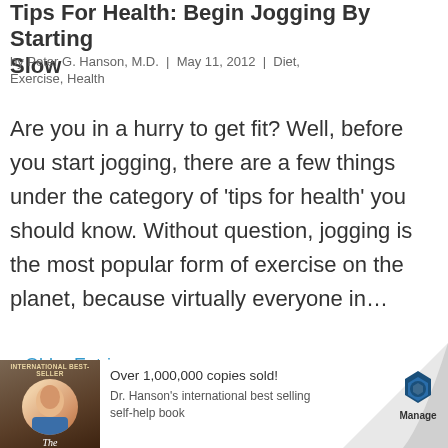Tips For Health: Begin Jogging By Starting Slow
by Peter G. Hanson, M.D. | May 11, 2012 | Diet, Exercise, Health
Are you in a hurry to get fit? Well, before you start jogging, there are a few things under the category of 'tips for health' you should know. Without question, jogging is the most popular form of exercise on the planet, because virtually everyone in…
« Older Entries
[Figure (photo): Book cover showing a person's face, labeled INTERNATIONAL BEST-SELLER with title 'The']
Over 1,000,000 copies sold! Dr. Hanson's international best selling self-help book
[Figure (logo): Manage logo with blue hexagon icon]